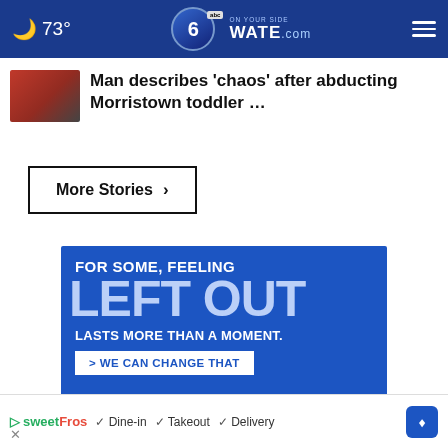73° WATE.com ON YOUR SIDE
Man describes 'chaos' after abducting Morristown toddler …
More Stories ›
[Figure (infographic): Blue advertisement banner: FOR SOME, FEELING LEFT OUT LASTS MORE THAN A MOMENT. > WE CAN CHANGE THAT]
sweetFrog ✓ Dine-in ✓ Takeout ✓ Delivery